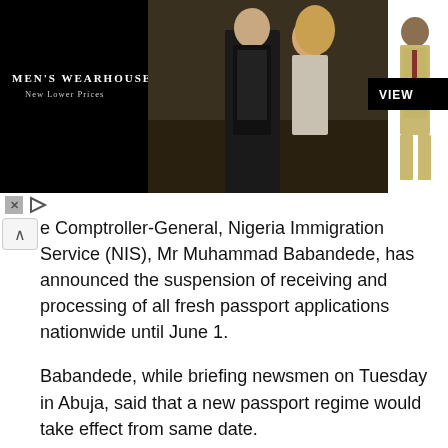[Figure (photo): Men's Wearhouse advertisement banner showing a couple in formal wear and a man in a tan suit with VIEW button]
e Comptroller-General, Nigeria Immigration Service (NIS), Mr Muhammad Babandede, has announced the suspension of receiving and processing of all fresh passport applications nationwide until June 1.
Babandede, while briefing newsmen on Tuesday in Abuja, said that a new passport regime would take effect from same date.
He said that the suspension was to allow for clearance of backlog of all passport applications received before May 17, adding that all backlogs were expected to be cleared by May 31.
What that means according to him, is that all